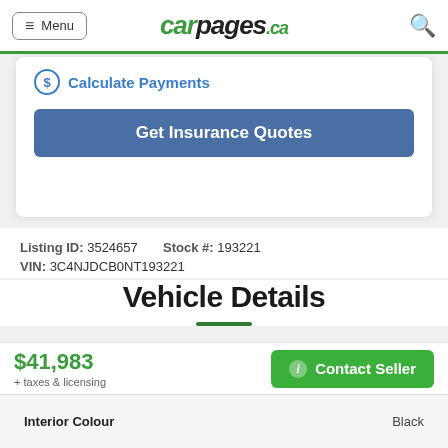Menu | carpages.ca | (search icon)
Calculate Payments
Get Insurance Quotes
Listing ID: 3524657   Stock #: 193221   VIN: 3C4NJDCB0NT193221
Vehicle Details
$41,983
+ taxes & licensing
Contact Seller
Interior Colour   Black